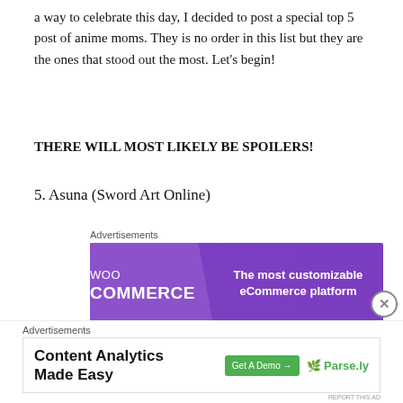a way to celebrate this day, I decided to post a special top 5 post of anime moms. They is no order in this list but they are the ones that stood out the most. Let’s begin!
THERE WILL MOST LIKELY BE SPOILERS!
5. Asuna (Sword Art Online)
[Figure (screenshot): WooCommerce advertisement banner: purple background with WooCommerce logo on left and text 'The most customizable eCommerce platform' on right]
[Figure (illustration): Anime characters from Sword Art Online - two female anime characters, one with long brown hair and one with long black hair]
[Figure (screenshot): Content Analytics Made Easy advertisement - Parse.ly ad with green Get A Demo button]